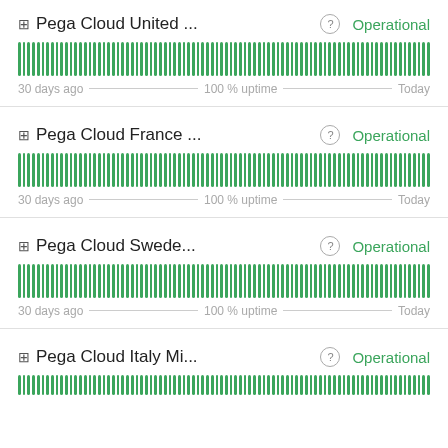⊞ Pega Cloud United ... ? Operational
[Figure (bar-chart): 90 green uptime bars representing 100% uptime over 30 days]
30 days ago — 100 % uptime — Today
⊞ Pega Cloud France ... ? Operational
[Figure (bar-chart): 90 green uptime bars representing 100% uptime over 30 days]
30 days ago — 100 % uptime — Today
⊞ Pega Cloud Swede... ? Operational
[Figure (bar-chart): 90 green uptime bars representing 100% uptime over 30 days]
30 days ago — 100 % uptime — Today
⊞ Pega Cloud Italy Mi... ? Operational